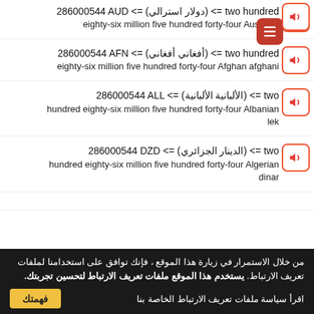286000544 AUD <= (دولار استرالي) <= two hundred eighty-six million five hundred forty-four Australian dollar
286000544 AFN <= (أفغاني أفغاني) <= two hundred eighty-six million five hundred forty-four Afghan afghani
286000544 ALL <= (الألبانية الألبانية) <= two hundred eighty-six million five hundred forty-four Albanian lek
286000544 DZD <= (الدينار الجزائري) <= two hundred eighty-six million five hundred forty-four Algerian dinar
من خلال الاستمرار في زيارة هذا الموقع ، فإنك توافق على استخدامنا لملفات تعريف الارتباط. يستخدم هذا الموقع ملفات تعريف الارتباط لتحسين تجربتك. اقرأ سياسة ملفات تعريف الارتباط الخاصة بنا